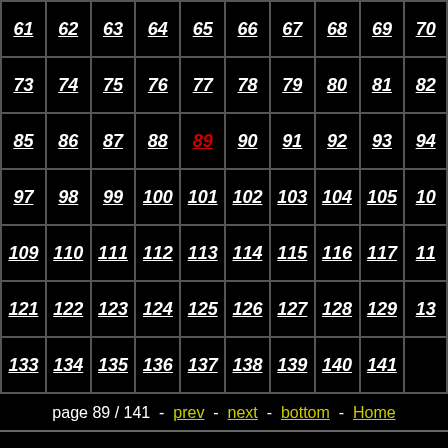| 61 | 62 | 63 | 64 | 65 | 66 | 67 | 68 | 69 | 70 |
| --- | --- | --- | --- | --- | --- | --- | --- | --- | --- |
| 73 | 74 | 75 | 76 | 77 | 78 | 79 | 80 | 81 | 82 |
| 85 | 86 | 87 | 88 | 89 | 90 | 91 | 92 | 93 | 94 |
| 97 | 98 | 99 | 100 | 101 | 102 | 103 | 104 | 105 | 106 |
| 109 | 110 | 111 | 112 | 113 | 114 | 115 | 116 | 117 | 118 |
| 121 | 122 | 123 | 124 | 125 | 126 | 127 | 128 | 129 | 130 |
| 133 | 134 | 135 | 136 | 137 | 138 | 139 | 140 | 141 |  |
page 89 / 141 - prev - next - bottom - Home
LL486 - Barite on Calcite $ 450
Elk Creek, Meade Co., South Dakota, USA
miniature - 4.5 x 4 x 2 cm
(click on an image to enlarge)